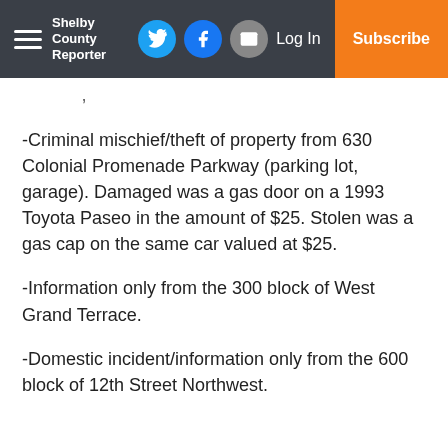Shelby County Reporter — Log In | Subscribe
-Criminal mischief/theft of property from 630 Colonial Promenade Parkway (parking lot, garage). Damaged was a gas door on a 1993 Toyota Paseo in the amount of $25. Stolen was a gas cap on the same car valued at $25.
-Information only from the 300 block of West Grand Terrace.
-Domestic incident/information only from the 600 block of 12th Street Northwest.